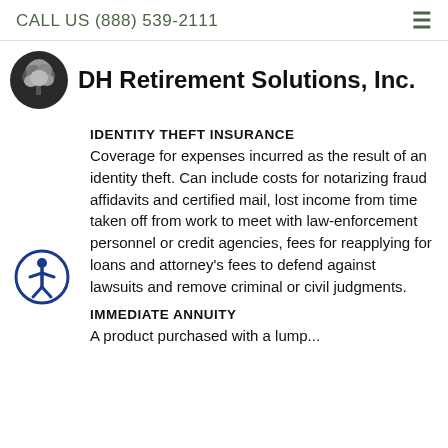CALL US (888) 539-2111
DH Retirement Solutions, Inc.
IDENTITY THEFT INSURANCE
Coverage for expenses incurred as the result of an identity theft. Can include costs for notarizing fraud affidavits and certified mail, lost income from time taken off from work to meet with law-enforcement personnel or credit agencies, fees for reapplying for loans and attorney's fees to defend against lawsuits and remove criminal or civil judgments.
[Figure (logo): Accessibility icon - circle with person figure]
IMMEDIATE ANNUITY
A product purchased with a lump...